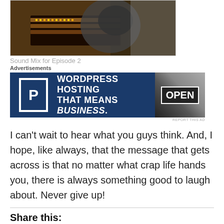[Figure (photo): Photo of a person working at a sound mixing board/console in a studio setting]
Sound Mix for Episode 2
[Figure (other): Advertisement banner for WordPress Hosting: 'WORDPRESS HOSTING THAT MEANS BUSINESS.' with a P logo and an OPEN sign image]
I can't wait to hear what you guys think. And, I hope, like always, that the message that gets across is that no matter what crap life hands you, there is always something good to laugh about. Never give up!
Share this:
Email
Twitter
Facebook
Reddit
LinkedIn
Pinterest
More